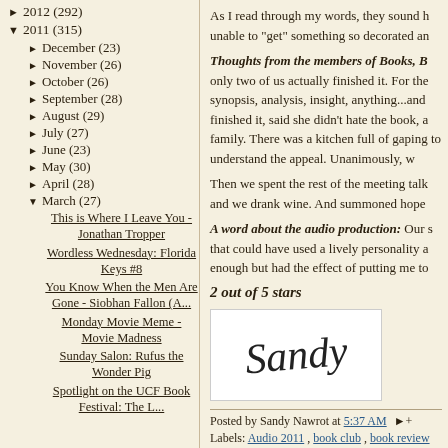► 2012 (292)
▼ 2011 (315)
► December (23)
► November (26)
► October (26)
► September (28)
► August (29)
► July (27)
► June (23)
► May (30)
► April (28)
▼ March (27)
This is Where I Leave You - Jonathan Tropper
Wordless Wednesday: Florida Keys #8
You Know When the Men Are Gone - Siobhan Fallon (A...
Monday Movie Meme - Movie Madness
Sunday Salon: Rufus the Wonder Pig
Spotlight on the UCF Book Festival: The L...
As I read through my words, they sound h unable to "get" something so decorated an
Thoughts from the members of Books, B only two of us actually finished it. For the synopsis, analysis, insight, anything...and finished it, said she didn't hate the book, a family. There was a kitchen full of gaping to understand the appeal. Unanimously, w
Then we spent the rest of the meeting talk and we drank wine. And summoned hope
A word about the audio production: Our s that could have used a lively personality a enough but had the effect of putting me to
2 out of 5 stars
[Figure (illustration): Handwritten cursive signature reading 'Sandy' on white background]
Posted by Sandy Nawrot at 5:37 AM
Labels: Audio 2011 , book club , book review 2011